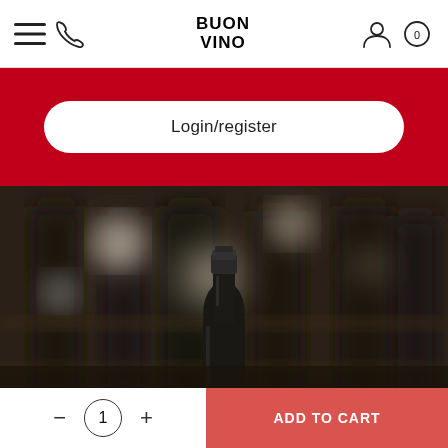BUON VINO
Login/register
[Figure (photo): Blurred background of wine bottles on shelves with one dark wine bottle neck in focus in the foreground center]
MONFARINA JACQUERE DOMAINE GIACHINO 2020
£18.33
ADD TO CART